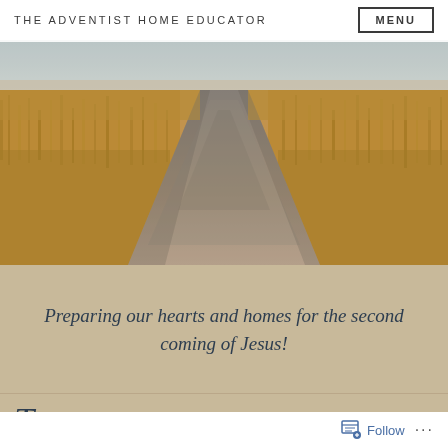THE ADVENTIST HOME EDUCATOR | MENU
[Figure (photo): A narrow dirt path cutting through a field of dry golden grass, receding toward the horizon under a pale blue sky. Muted, warm tones with a slightly desaturated vintage feel.]
Preparing our hearts and homes for the second coming of Jesus!
T...